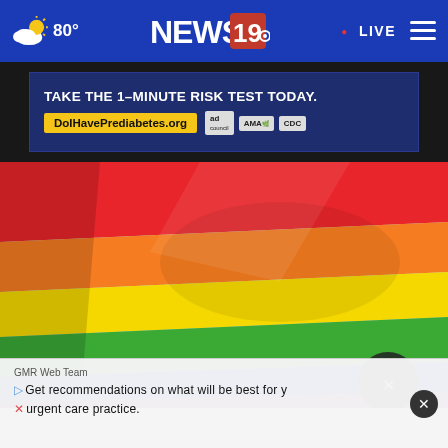80° NEWS 19 · LIVE
[Figure (screenshot): Advertisement banner: TAKE THE 1-MINUTE RISK TEST TODAY. DoIHavePrediabetes.org — ad council, AMA, CDC logos]
[Figure (photo): Rainbow pride flag waving against a light blue sky background]
GMR Web Team
Get recommendations on what will be best for y urgent care practice.